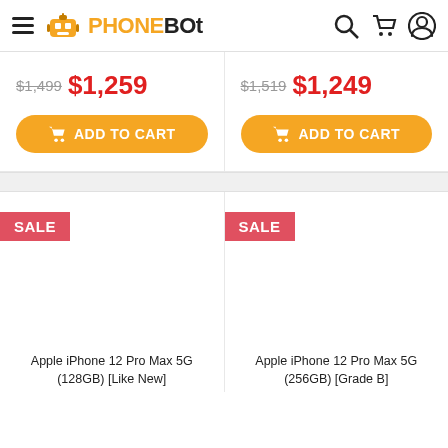PHONEBOT
$1,499 $1,259 ADD TO CART
$1,519 $1,249 ADD TO CART
[Figure (screenshot): Product card with SALE badge for Apple iPhone 12 Pro Max 5G (128GB) [Like New]]
[Figure (screenshot): Product card with SALE badge for Apple iPhone 12 Pro Max 5G (256GB) [Grade B]]
Apple iPhone 12 Pro Max 5G (128GB) [Like New]
Apple iPhone 12 Pro Max 5G (256GB) [Grade B]